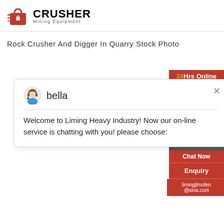[Figure (logo): Crusher Mining Equipment logo with red shopping bag icon with speed lines and bold CRUSHER text, Mining Equipment subtitle]
Rock Crusher And Digger In Quarry Stock Photo
[Figure (screenshot): Right sidebar panel: 24Hrs Online header in red with orange '24', photo area with headset operator, 'Need & suggestions' text with blue badge '1', Chat Now button, dashed divider, Enquiry button, dashed divider, limingjlmofen@sina.com email]
[Figure (screenshot): Chat popup with bella avatar (female headset icon), name 'bella', close X button, message: Welcome to Liming Heavy Industry! Now our on-line service is chatting with you! please choose:]